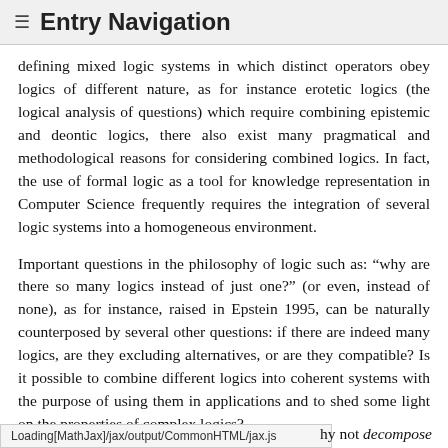≡  Entry Navigation
defining mixed logic systems in which distinct operators obey logics of different nature, as for instance erotetic logics (the logical analysis of questions) which require combining epistemic and deontic logics, there also exist many pragmatical and methodological reasons for considering combined logics. In fact, the use of formal logic as a tool for knowledge representation in Computer Science frequently requires the integration of several logic systems into a homogeneous environment.
Important questions in the philosophy of logic such as: “why are there so many logics instead of just one?” (or even, instead of none), as for instance, raised in Epstein 1995, can be naturally counterposed by several other questions: if there are indeed many logics, are they excluding alternatives, or are they compatible? Is it possible to combine different logics into coherent systems with the purpose of using them in applications and to shed some light on the properties of complex logics?
Loading[MathJax]/jax/output/CommonHTML/jax.js
why not decompose